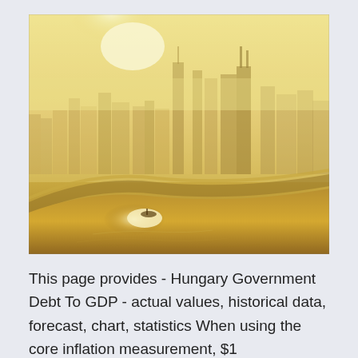[Figure (photo): Aerial photograph of a city skyline shrouded in haze or smog, with a river in the foreground reflecting golden sunlight. The skyline features tall skyscrapers partially obscured by the dense haze. The overall tone is golden-yellow due to the atmospheric haze and lighting.]
This page provides - Hungary Government Debt To GDP - actual values, historical data, forecast, chart, statistics When using the core inflation measurement, $1